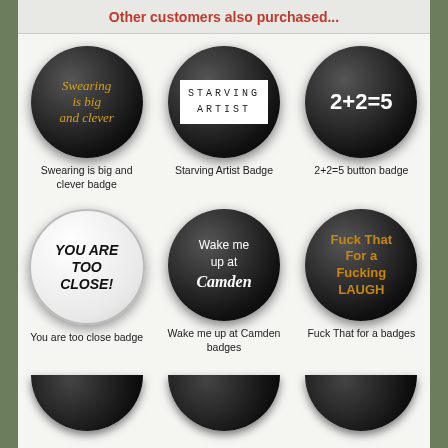Other customers also purchased...
[Figure (illustration): Round black badge with gold italic text: Swearing is big and clever]
Swearing is big and clever badge
[Figure (illustration): Round black badge with white box containing monospace text: STARVING ARTIST]
Starving Artist Badge
[Figure (illustration): Round black badge with white bold text: 2+2=5]
2+2=5 button badge
[Figure (illustration): Round white badge with bold italic text: YOU ARE TOO CLOSE!]
You are too close badge
[Figure (illustration): Round black badge with white text: Wake me up at Camden]
Wake me up at Camden badges
[Figure (illustration): Round black badge with orange text: Fuck That For a Fucking LAUGH]
Fuck That for a badges
[Figure (illustration): Partial view of three more round black badges at bottom of page]